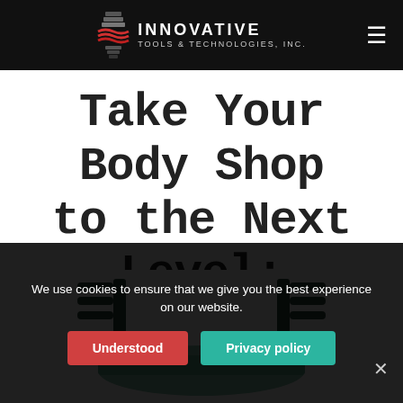INNOVATIVE TOOLS & TECHNOLOGIES, INC.
Take Your Body Shop to the Next Level:
[Figure (photo): Body shop frame/rack device with green metal top and dark cylindrical arms extending outward on both sides, partially visible at the bottom of the page.]
We use cookies to ensure that we give you the best experience on our website.
Understood
Privacy policy